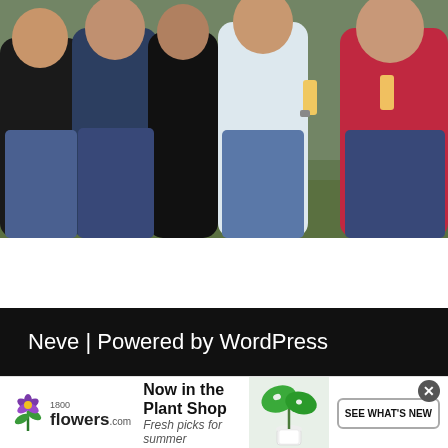[Figure (photo): Group of five people standing together outdoors at an event, in front of what appears to be a vehicle. From left to right: person in black t-shirt, person in dark blue/navy top, person in black outfit, person in white shirt holding a drink, and person in red/pink t-shirt. Green outdoor background.]
Neve | Powered by WordPress
[Figure (photo): Advertisement for 1-800-flowers.com showing a green tropical plant (monstera) in a white pot. Text reads 'Now in the Plant Shop' and 'Fresh picks for summer' with a 'SEE WHAT'S NEW' button.]